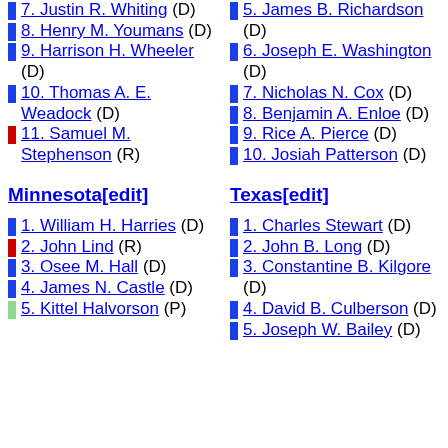7. Justin R. Whiting (D)
8. Henry M. Youmans (D)
9. Harrison H. Wheeler (D)
10. Thomas A. E. Weadock (D)
11. Samuel M. Stephenson (R)
Minnesota[edit]
1. William H. Harries (D)
2. John Lind (R)
3. Osee M. Hall (D)
4. James N. Castle (D)
5. Kittel Halvorson (P)
5. James B. Richardson (D)
6. Joseph E. Washington (D)
7. Nicholas N. Cox (D)
8. Benjamin A. Enloe (D)
9. Rice A. Pierce (D)
10. Josiah Patterson (D)
Texas[edit]
1. Charles Stewart (D)
2. John B. Long (D)
3. Constantine B. Kilgore (D)
4. David B. Culberson (D)
5. Joseph W. Bailey (D)